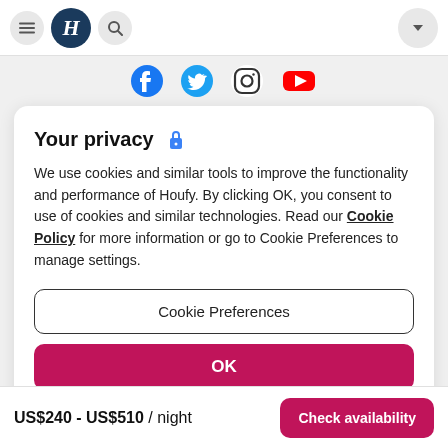Houfy navigation bar with hamburger menu, logo, search, and dropdown
[Figure (logo): Social media icons: Facebook, Twitter, Instagram, YouTube]
Your privacy 🔒
We use cookies and similar tools to improve the functionality and performance of Houfy. By clicking OK, you consent to use of cookies and similar technologies. Read our Cookie Policy for more information or go to Cookie Preferences to manage settings.
Cookie Preferences
OK
US$240 - US$510 / night   Check availability